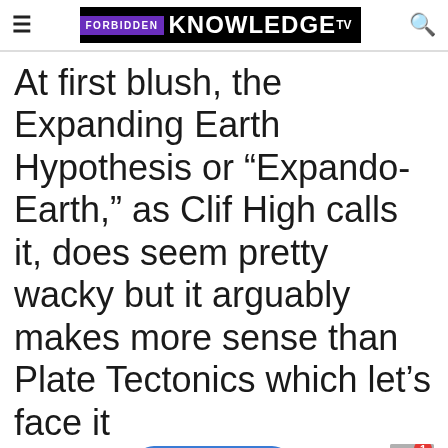FORBIDDEN KNOWLEDGE TV
At first blush, the Expanding Earth Hypothesis or “Expando-Earth,” as Clif High calls it, does seem pretty wacky but it arguably makes more sense than Plate Tectonics which let’s face it
Leidos Crew Member Jobs in Ashburn Apply  Promoted ×
[Figure (photo): Close-up photo of intestines or biological tissue]
[Figure (photo): Military personnel riding a fast boat through water]
What They Didn’t Want You Knowing About Metformin
Watch The Video
More Camp Lejeune Claims Are Now Being Accepted
Find Out More